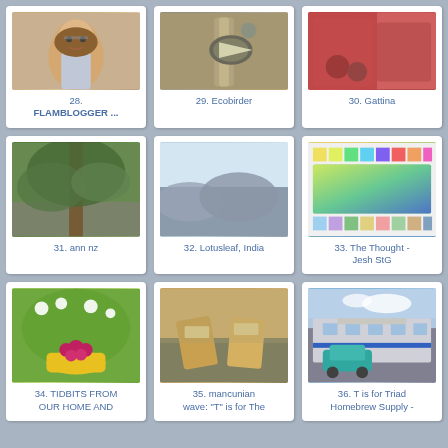[Figure (photo): Portrait photo of a smiling older woman with glasses]
28. FLAMBLOGGER ...
[Figure (photo): Photo of a bird (woodpecker) on a tree]
29. Ecobirder
[Figure (photo): Photo of food/craft items in red]
30. Gattina
[Figure (photo): Photo of a large tree with branches]
31. ann nz
[Figure (photo): Photo of misty mountains landscape in India]
32. Lotusleaf, India
[Figure (photo): Colorful art/paint samples display]
33. The Thought - Jesh StG
[Figure (photo): Photo of raspberries in a yellow bowl with flowers]
34. TIDBITS FROM OUR HOME AND
[Figure (photo): Photo of garden chairs with books]
35. mancunian wave: "T" is for The
[Figure (photo): Photo of a Triad Homebrew Supply store with a teal car]
36. T is for Triad Homebrew Supply -